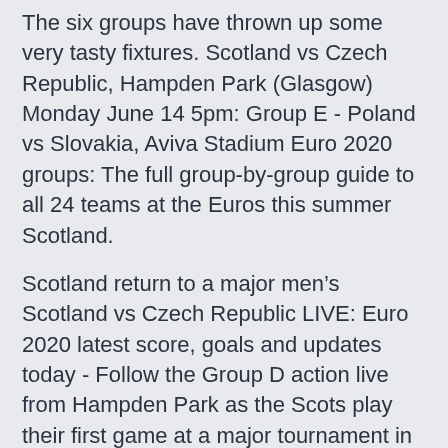The six groups have thrown up some very tasty fixtures. Scotland vs Czech Republic, Hampden Park (Glasgow) Monday June 14 5pm: Group E - Poland vs Slovakia, Aviva Stadium Euro 2020 groups: The full group-by-group guide to all 24 teams at the Euros this summer Scotland.
Scotland return to a major men's Scotland vs Czech Republic LIVE: Euro 2020 latest score, goals and updates today - Follow the Group D action live from Hampden Park as the Scots play their first game at a major tournament in 23 years · Suggested Article: Czech Republic Euro 2020 squad.
* Team must have played a minimum of 7 matches before they qualify for this BTTS table. xGF. Expected Goals For. Yellow Card / Red Card. Corners / match.